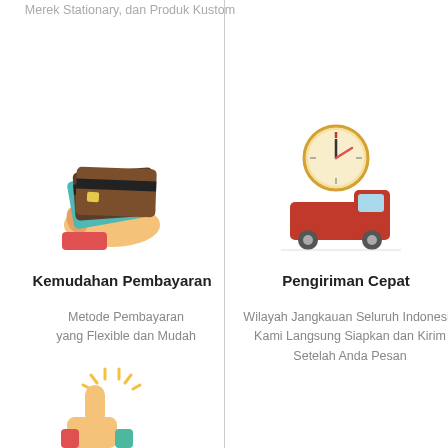Merek Stationary, dan Produk Kustom
[Figure (illustration): Hand holding credit cards illustration]
Kemudahan Pembayaran
Metode Pembayaran yang Flexible dan Mudah
[Figure (illustration): Delivery truck with clock illustration]
Pengiriman Cepat
Wilayah Jangkauan Seluruh Indonesia Kami Langsung Siapkan dan Kirim Setelah Anda Pesan
[Figure (illustration): Thumbs up illustration]